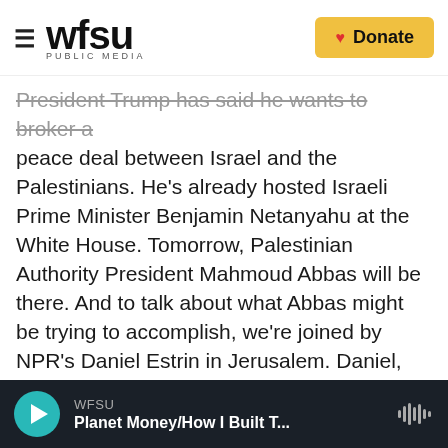WFSU PUBLIC MEDIA | Donate
President Trump has said he wants to broker a peace deal between Israel and the Palestinians. He's already hosted Israeli Prime Minister Benjamin Netanyahu at the White House. Tomorrow, Palestinian Authority President Mahmoud Abbas will be there. And to talk about what Abbas might be trying to accomplish, we're joined by NPR's Daniel Estrin in Jerusalem. Daniel, good morning.
DANIEL ESTRIN, BYLINE: Good morning.
GREENE: So tell me about this visit by Abbas to the United States. Why now?
WFSU | Planet Money/How I Built T...